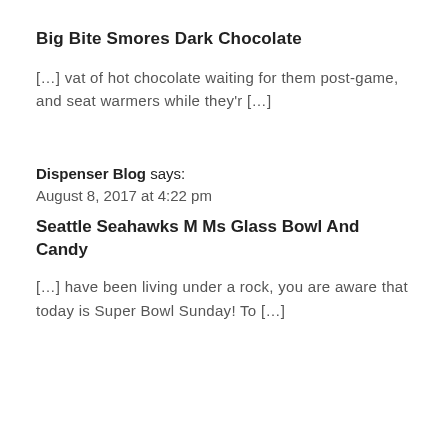Big Bite Smores Dark Chocolate
[…] vat of hot chocolate waiting for them post-game, and seat warmers while they'r […]
Dispenser Blog says:
August 8, 2017 at 4:22 pm
Seattle Seahawks M Ms Glass Bowl And Candy
[…] have been living under a rock, you are aware that today is Super Bowl Sunday! To […]